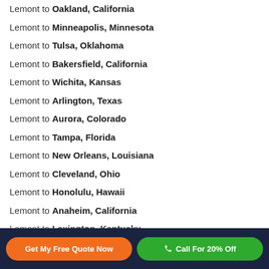Lemont to Oakland, California
Lemont to Minneapolis, Minnesota
Lemont to Tulsa, Oklahoma
Lemont to Bakersfield, California
Lemont to Wichita, Kansas
Lemont to Arlington, Texas
Lemont to Aurora, Colorado
Lemont to Tampa, Florida
Lemont to New Orleans, Louisiana
Lemont to Cleveland, Ohio
Lemont to Honolulu, Hawaii
Lemont to Anaheim, California
Lemont to Lexington, Kentucky
Get My Free Quote Now | Call For 20% Off